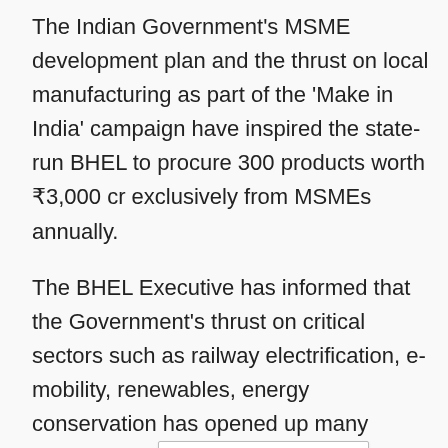The Indian Government's MSME development plan and the thrust on local manufacturing as part of the 'Make in India' campaign have inspired the state-run BHEL to procure 300 products worth ₹3,000 cr exclusively from MSMEs annually.
The BHEL Executive has informed that the Government's thrust on critical sectors such as railway electrification, e-mobility, renewables, energy conservation has opened up many opportunities [Select Language] g.